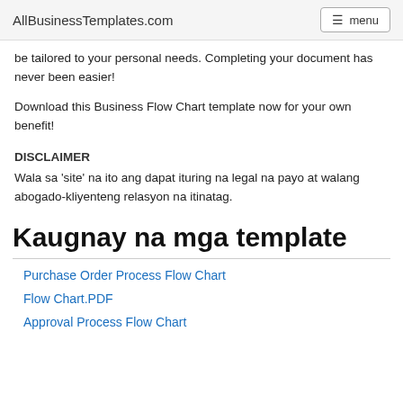AllBusinessTemplates.com  menu
be tailored to your personal needs. Completing your document has never been easier!
Download this Business Flow Chart template now for your own benefit!
DISCLAIMER
Wala sa 'site' na ito ang dapat ituring na legal na payo at walang abogado-kliyenteng relasyon na itinatag.
Kaugnay na mga template
Purchase Order Process Flow Chart
Flow Chart.PDF
Approval Process Flow Chart